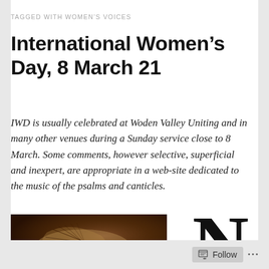TAGGED WITH WOMEN'S VOICES
International Women's Day, 8 March 21
IWD is usually celebrated at Woden Valley Uniting and in many other venues during a Sunday service close to 8 March. Some comments, however selective, superficial and inexpert, are appropriate in a web-site dedicated to the music of the psalms and canticles.
[Figure (photo): Dark sepia-toned image of a reclining figure with lines drawn across it]
[Figure (other): Large letter N in black on white background]